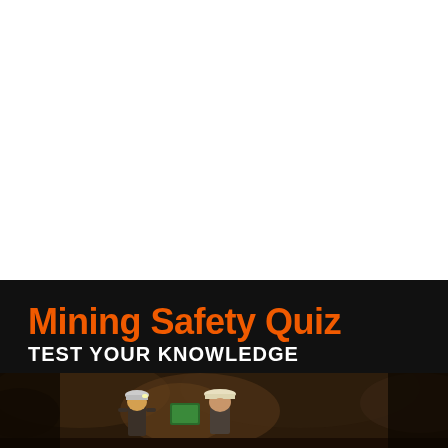[Figure (photo): Cover page of Mining Safety Quiz document. Upper portion is white (top of page). Lower portion has a dark/black background with the title 'Mining Safety Quiz' in bold orange text and subtitle 'TEST YOUR KNOWLEDGE' in white bold text. At the bottom, a partial photo shows two miners wearing hard hats in an underground mine setting.]